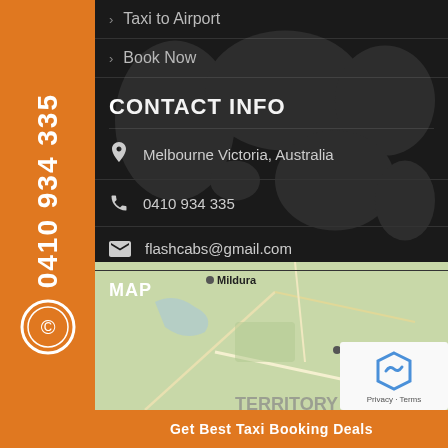› Taxi to Airport
› Book Now
CONTACT INFO
Melbourne Victoria, Australia
0410 934 335
flashcabs@gmail.com
MAP
[Figure (map): Map showing part of southeastern Australia including Mildura and Wagga Wagga]
TERRITORY
Get Best Taxi Booking Deals
0410 934 335